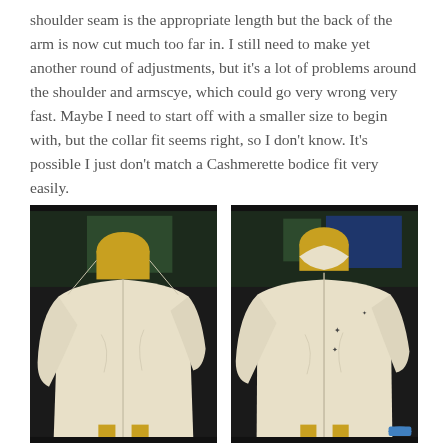shoulder seam is the appropriate length but the back of the arm is now cut much too far in. I still need to make yet another round of adjustments, but it's a lot of problems around the shoulder and armscye, which could go very wrong very fast. Maybe I need to start off with a smaller size to begin with, but the collar fit seems right, so I don't know. It's possible I just don't match a Cashmerette bodice fit very easily.
[Figure (photo): Photo of a cream/off-white jacket or shirt on a yellow dress form/mannequin, front view without collar, dark background with shelving visible]
[Figure (photo): Photo of the same cream/off-white jacket or shirt on a yellow dress form/mannequin, front view with collar, dark background with shelving and blue spool visible]